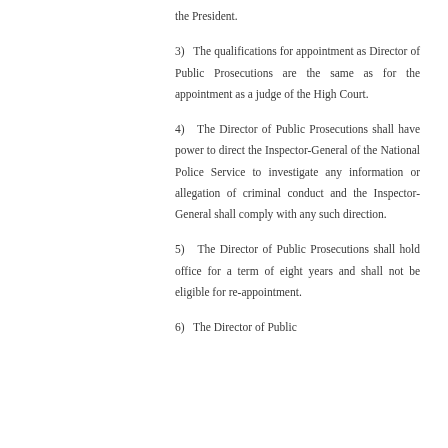the President.
3) The qualifications for appointment as Director of Public Prosecutions are the same as for the appointment as a judge of the High Court.
4) The Director of Public Prosecutions shall have power to direct the Inspector-General of the National Police Service to investigate any information or allegation of criminal conduct and the Inspector-General shall comply with any such direction.
5) The Director of Public Prosecutions shall hold office for a term of eight years and shall not be eligible for re-appointment.
6) The Director of Public